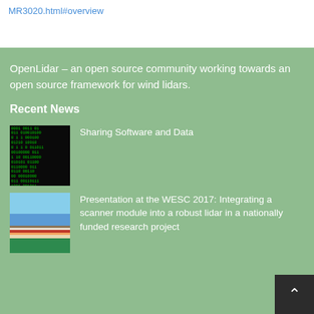MR3020.html#overview
OpenLidar – an open source community working towards an open source framework for wind lidars.
Recent News
[Figure (photo): Green binary code matrix on black background]
Sharing Software and Data
[Figure (photo): Copenhagen harbor with colorful buildings]
Presentation at the WESC 2017: Integrating a scanner module into a robust lidar in a nationally funded research project